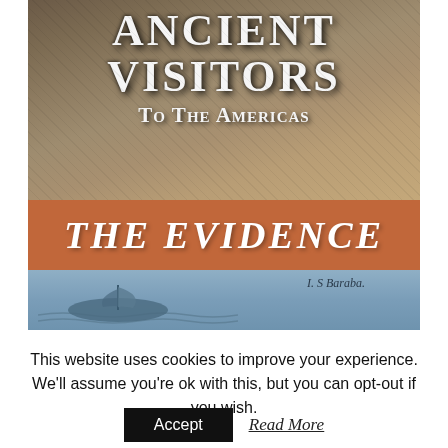[Figure (illustration): Book cover for 'Ancient Visitors To The Americas: The Evidence'. Top section shows a textured stone/earth background with large white serif text reading 'ANCIENT VISITORS To The Americas'. Middle band is burnt orange/terra cotta with italic white text 'THE EVIDENCE'. Bottom section shows a blue-toned historical illustration of a sailing ship with the text 'I: S Baraba' or similar handwriting.]
This website uses cookies to improve your experience. We'll assume you're ok with this, but you can opt-out if you wish.
Accept   Read More